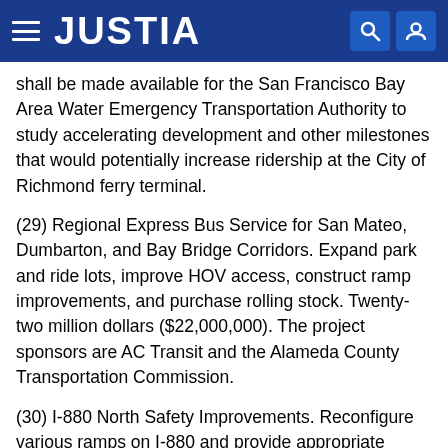JUSTIA
shall be made available for the San Francisco Bay Area Water Emergency Transportation Authority to study accelerating development and other milestones that would potentially increase ridership at the City of Richmond ferry terminal.
(29) Regional Express Bus Service for San Mateo, Dumbarton, and Bay Bridge Corridors. Expand park and ride lots, improve HOV access, construct ramp improvements, and purchase rolling stock. Twenty-two million dollars ($22,000,000). The project sponsors are AC Transit and the Alameda County Transportation Commission.
(30) I-880 North Safety Improvements. Reconfigure various ramps on I-880 and provide appropriate mitigations between 29th Avenue and 16th Avenue. Ten million dollars ($10,000,000). The project sponsors are